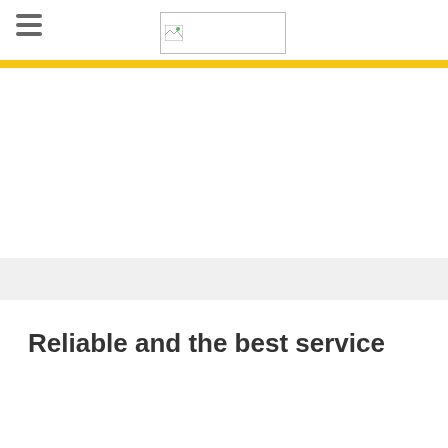[Figure (logo): Logo placeholder with small broken image icon inside a rectangular border]
Reliable and the best service